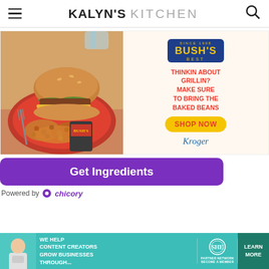KALYN'S KITCHEN
[Figure (photo): Bush's Best baked beans advertisement showing a burger on a red plate surrounded by baked beans, with a can of Bush's Baked Beans. Right side shows Bush's Best logo, text 'THINKIN ABOUT GRILLIN? MAKE SURE TO BRING THE BAKED BEANS', a yellow 'SHOP NOW' button, and Kroger logo.]
[Figure (other): Purple 'Get Ingredients' button with 'Powered by chicory' below it]
[Figure (other): SHE Media bottom banner ad: 'WE HELP CONTENT CREATORS GROW BUSINESSES THROUGH...' with SHE PARTNER NETWORK logo and LEARN MORE button]